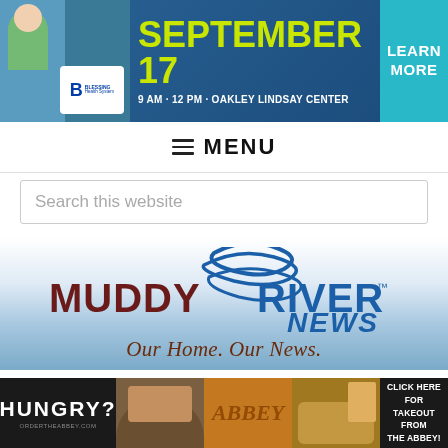[Figure (infographic): Top banner advertisement for Blessing Health System event on September 17, 9 AM - 12 PM at Oakley Lindsay Center, with Learn More button]
☰ MENU
Search this website
[Figure (logo): Muddy River News logo with river wave graphic and tagline 'Our Home. Our News.' on a blue gradient background]
[Figure (infographic): Bottom advertisement: HUNGRY? ORDERTHEABBEY.COM - Click Here For Takeout From The Abbey! with food photos]